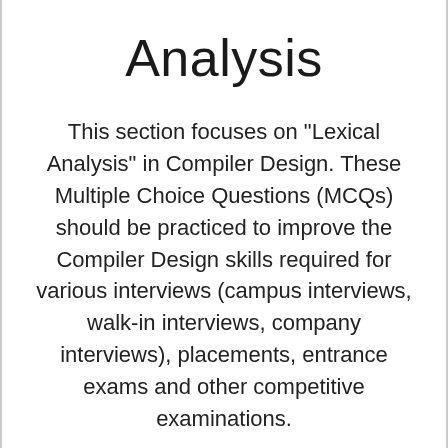Analysis
This section focuses on "Lexical Analysis" in Compiler Design. These Multiple Choice Questions (MCQs) should be practiced to improve the Compiler Design skills required for various interviews (campus interviews, walk-in interviews, company interviews), placements, entrance exams and other competitive examinations.